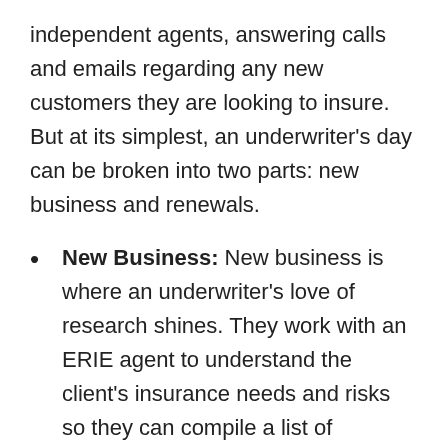independent agents, answering calls and emails regarding any new customers they are looking to insure. But at its simplest, an underwriter's day can be broken into two parts: new business and renewals.
New Business: New business is where an underwriter's love of research shines. They work with an ERIE agent to understand the client's insurance needs and risks so they can compile a list of coverages the customer needs, including those required for their region or account type and then can determine an appropriate price.
Renewals and re-underwriting: If you have a sharp eye for small details, re-underwriting may be one of your favorite aspects of the job. Re-underwriting is looking at accounts already insured with ERIE and